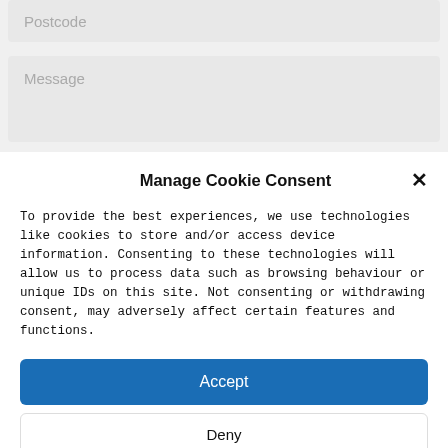[Figure (screenshot): Postcode form input field with placeholder text]
[Figure (screenshot): Message form textarea with placeholder text]
Manage Cookie Consent
To provide the best experiences, we use technologies like cookies to store and/or access device information. Consenting to these technologies will allow us to process data such as browsing behaviour or unique IDs on this site. Not consenting or withdrawing consent, may adversely affect certain features and functions.
Accept
Deny
View preferences
Cookie Policy  Privacy Policy  Imprint